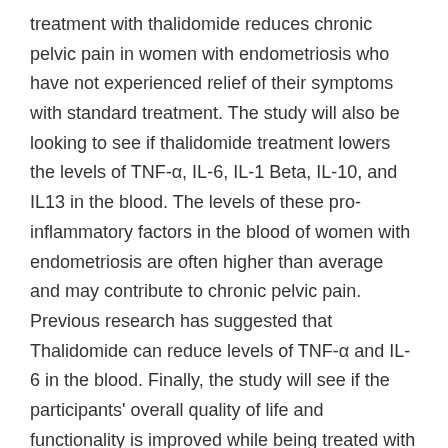treatment with thalidomide reduces chronic pelvic pain in women with endometriosis who have not experienced relief of their symptoms with standard treatment. The study will also be looking to see if thalidomide treatment lowers the levels of TNF-α, IL-6, IL-1 Beta, IL-10, and IL13 in the blood. The levels of these pro-inflammatory factors in the blood of women with endometriosis are often higher than average and may contribute to chronic pelvic pain. Previous research has suggested that Thalidomide can reduce levels of TNF-α and IL-6 in the blood. Finally, the study will see if the participants' overall quality of life and functionality is improved while being treated with thalidomide.